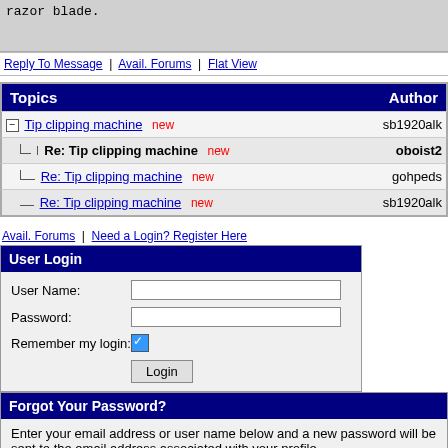razor blade.
Reply To Message | Avail. Forums | Flat View
| Topics | Author |
| --- | --- |
| Tip clipping machine new | sb1920alk |
| Re: Tip clipping machine new | oboist2 |
| Re: Tip clipping machine new | gohpeds |
| Re: Tip clipping machine new | sb1920alk |
Avail. Forums | Need a Login? Register Here
User Login
User Name:
Password:
Remember my login:
Login
Forgot Your Password?
Enter your email address or user name below and a new password will be sent to the email address associated with your profile.
Submit
Copyright © Woodwind.Org, Inc. All Rights Reserved  Privacy Policy  Contact